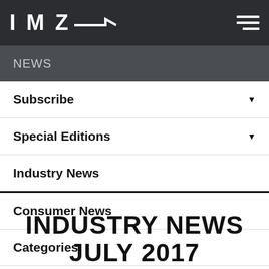IMZ
NEWS
Subscribe
Special Editions
Industry News
Consumer News
Categories
INDUSTRY NEWS JULY 2017